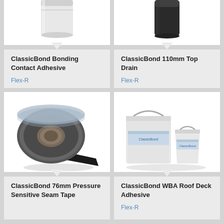[Figure (photo): ClassicBond Bonding Contact Adhesive product - white cylindrical container, partially cropped at top]
ClassicBond Bonding Contact Adhesive
Flex-R
[Figure (photo): ClassicBond 110mm Top Drain - dark cylindrical drain product, partially cropped at top]
ClassicBond 110mm Top Drain
Flex-R
[Figure (photo): ClassicBond 76mm Pressure Sensitive Seam Tape - a roll of black/grey tape with a piece of tape unrolled]
ClassicBond 76mm Pressure Sensitive Seam Tape
[Figure (photo): ClassicBond WBA Roof Deck Adhesive - two white buckets of different sizes with ClassicBond branding]
ClassicBond WBA Roof Deck Adhesive
Flex-R